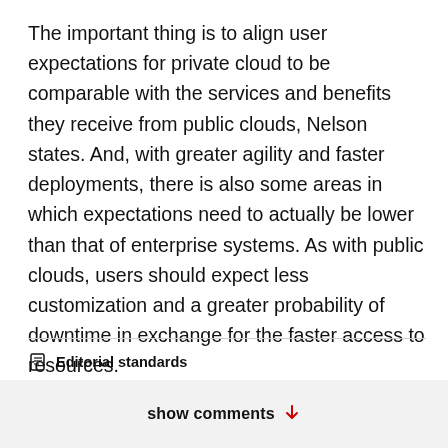The important thing is to align user expectations for private cloud to be comparable with the services and benefits they receive from public clouds, Nelson states. And, with greater agility and faster deployments, there is also some areas in which expectations need to actually be lower than that of enterprise systems. As with public clouds, users should expect less customization and a greater probability of downtime in exchange for the faster access to resources.
Editorial standards
show comments